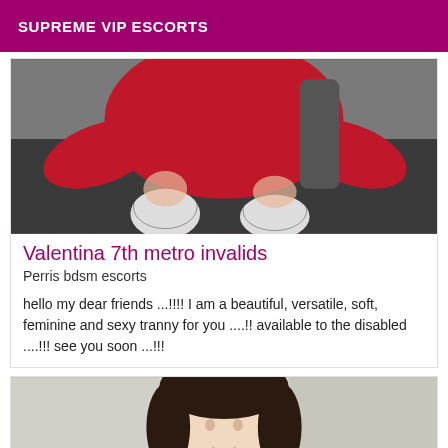SUPREME VIP ESCORTS
[Figure (photo): Photo of a person wearing a red outfit and white stockings, seated on a dark couch, upper body visible]
Valentina 7th metro invalids
Perris bdsm escorts
hello my dear friends ...!!!! I am a beautiful, versatile, soft, feminine and sexy tranny for you ....!! available to the disabled ....!!! see you soon ...!!!
[Figure (photo): Photo of a dark-haired person, head and shoulders visible, light background]